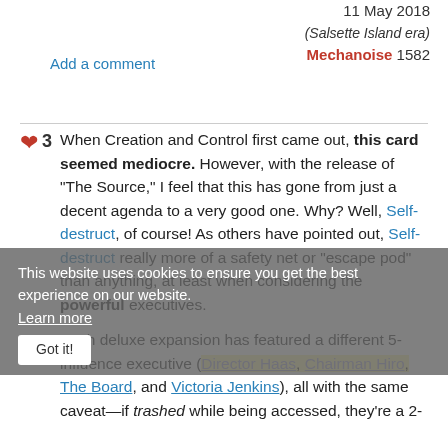11 May 2018
(Salsette Island era)
Mechanoise 1582
Add a comment
3  When Creation and Control first came out, this card seemed mediocre. However, with the release of "The Source," I feel that this has gone from just a decent agenda to a very good one. Why? Well, Self-destruct, of course! As others have pointed out, Self-destruct really more of a safety net or "escape pod" than anything, at least when considering the powerful executives.

Each deluxe expansion has featured a different 5-influence executive (Director Haas, Chairman Hiro, The Board, and Victoria Jenkins), all with the same caveat—if trashed while being accessed, they're a 2-
This website uses cookies to ensure you get the best experience on our website.
Learn more
Got it!